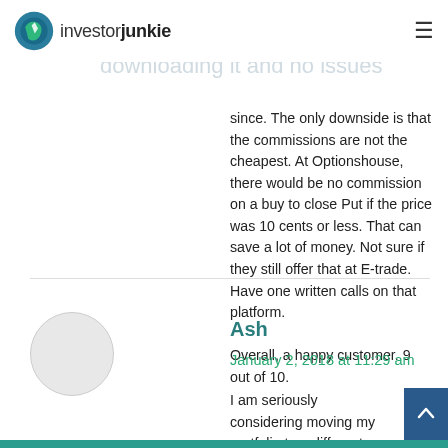investorjunkie
The technology has worked fine on my MAC, downloading it and no issues since. The only downside is that the commissions are not the cheapest. At Optionshouse, there would be no commission on a buy to close Put if the price was 10 cents or less. That can save a lot of money. Not sure if they still offer that at E-trade. Have one written calls on that platform.

Overall, a happy customer. 9 out of 10.
Ash
January 2, 2018 at 11:29 am
I am seriously considering moving my portfolio to a different company. Here are my reasons: